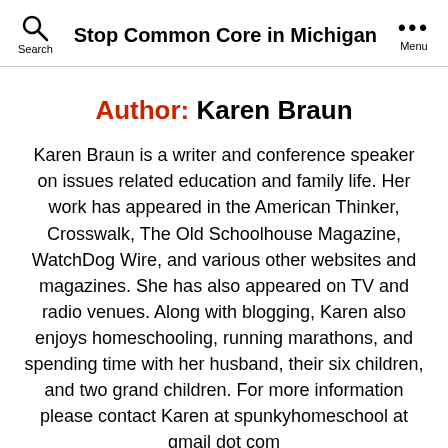Stop Common Core in Michigan
Author: Karen Braun
Karen Braun is a writer and conference speaker on issues related education and family life. Her work has appeared in the American Thinker, Crosswalk, The Old Schoolhouse Magazine, WatchDog Wire, and various other websites and magazines. She has also appeared on TV and radio venues. Along with blogging, Karen also enjoys homeschooling, running marathons, and spending time with her husband, their six children, and two grand children. For more information please contact Karen at spunkyhomeschool at gmail dot com